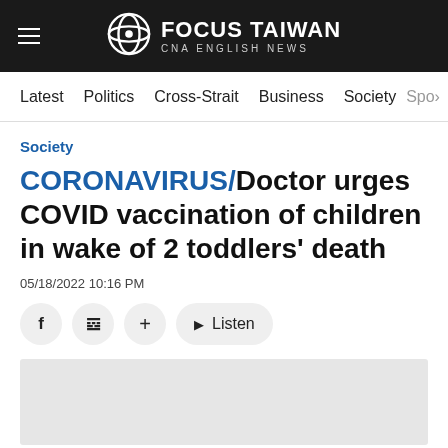Focus Taiwan CNA English News
Latest  Politics  Cross-Strait  Business  Society  Spo>
Society
CORONAVIRUS/Doctor urges COVID vaccination of children in wake of 2 toddlers' death
05/18/2022 10:16 PM
[Figure (other): Gray image placeholder for article photo]